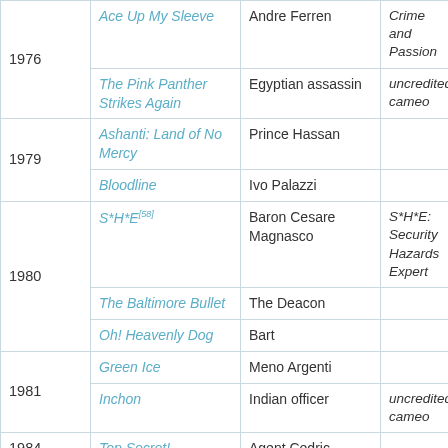| Year | Film | Role | Notes |
| --- | --- | --- | --- |
| 1976 | Ace Up My Sleeve | Andre Ferren | Crime and Passion |
|  | The Pink Panther Strikes Again | Egyptian assassin | uncredited cameo |
| 1979 | Ashanti: Land of No Mercy | Prince Hassan |  |
|  | Bloodline | Ivo Palazzi |  |
| 1980 | S*H*E[58] | Baron Cesare Magnasco | S*H*E: Security Hazards Expert |
|  | The Baltimore Bullet | The Deacon |  |
|  | Oh! Heavenly Dog | Bart |  |
| 1981 | Green Ice | Meno Argenti |  |
|  | Inchon | Indian officer | uncredited cameo |
| 1984 | Top Secret! | Agent Cedric |  |